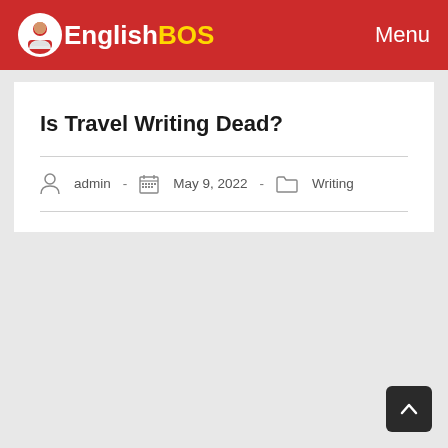EnglishBOS  Menu
Is Travel Writing Dead?
admin - May 9, 2022 - Writing